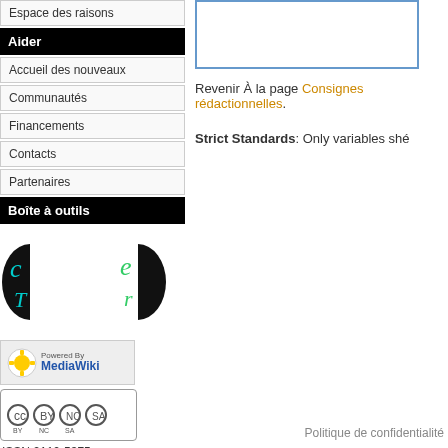Espace des raisons
Aider
Accueil des nouveaux
Communautés
Financements
Contacts
Partenaires
Boîte à outils
[Figure (logo): CTR logos - two circular black icons with stylized letter glyphs in cyan/green]
[Figure (logo): Powered by MediaWiki badge]
[Figure (logo): Creative Commons BY-NC-SA license badge]
ISSN 2110-5375
[Figure (screenshot): Blue-bordered empty text box]
Revenir à la page Consignes rédactionnelles.
Strict Standards: Only variables sh...
Politique de confidentialit...